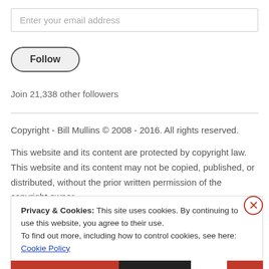Enter your email address
Follow
Join 21,338 other followers
Copyright - Bill Mullins © 2008 - 2016. All rights reserved.
This website and its content are protected by copyright law. This website and its content may not be copied, published, or distributed, without the prior written permission of the copyright owner.
Privacy & Cookies: This site uses cookies. By continuing to use this website, you agree to their use.
To find out more, including how to control cookies, see here: Cookie Policy
Close and accept